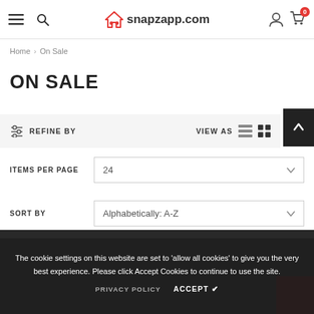snapzapp.com — navigation header with hamburger menu, search, logo, user icon, cart (0)
Home > On Sale
ON SALE
REFINE BY   VIEW AS
ITEMS PER PAGE  24
SORT BY  Alphabetically: A-Z
The cookie settings on this website are set to 'allow all cookies' to give you the very best experience. Please click Accept Cookies to continue to use the site.
PRIVACY POLICY   ACCEPT ✔